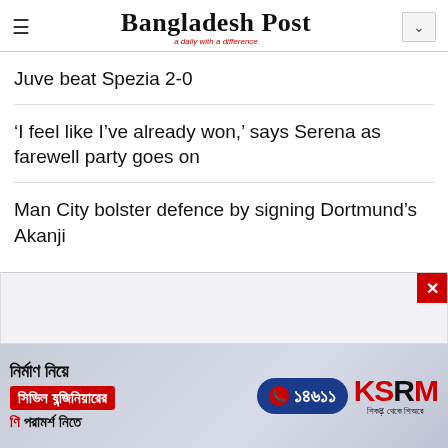Bangladesh Post — a daily with a difference
Juve beat Spezia 2-0
'I feel like I've already won,' says Serena as farewell party goes on
Man City bolster defence by signing Dortmund's Akanji
[Figure (infographic): Advertisement banner for KSRM construction services in Bengali, featuring red box with civil engineer text, phone number 16741, and KSRM logo]